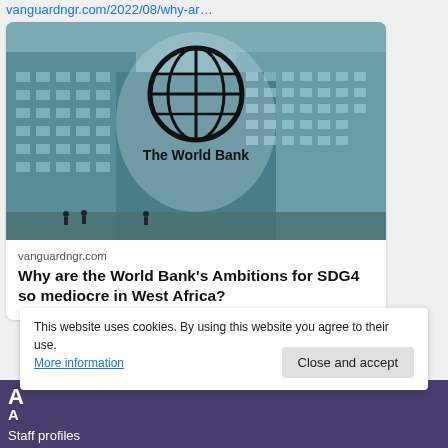vanguardngr.com/2022/08/why-ar…
[Figure (photo): The World Bank building exterior with globe logo overlay, tinted blue-grey]
vanguardngr.com
Why are the World Bank's Ambitions for SDG4 so mediocre in West Africa?
This website uses cookies. By using this website you agree to their use.
More information
Close and accept
A
A
Staff profiles